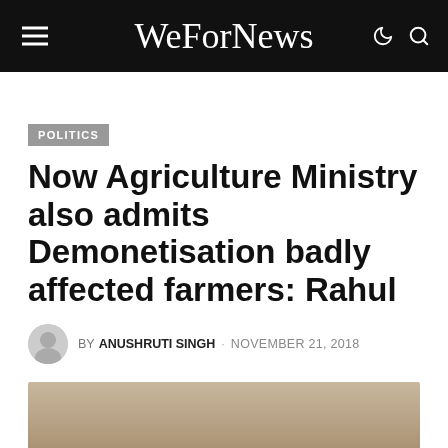WeForNews
POLITICS
Now Agriculture Ministry also admits Demonetisation badly affected farmers: Rahul
BY ANUSHRUTI SINGH · NOVEMBER 21, 2018
[Figure (photo): Photo at bottom of article, partially visible]